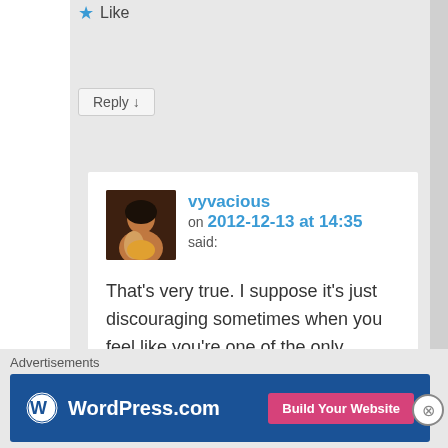★ Like
Reply ↓
vyvacious on 2012-12-13 at 14:35 said:
That's very true. I suppose it's just discouraging sometimes when you feel like you're one of the only people trying
Advertisements
[Figure (logo): WordPress.com banner advertisement with blue background, WordPress logo and 'Build Your Website' pink button]